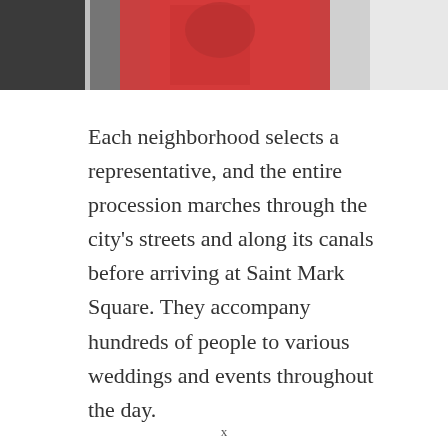[Figure (photo): Top portion of a photo showing people in colorful costumes or traditional dress, with red and gray/white tones visible, cropped at the top of the page.]
Each neighborhood selects a representative, and the entire procession marches through the city's streets and along its canals before arriving at Saint Mark Square. They accompany hundreds of people to various weddings and events throughout the day.
x